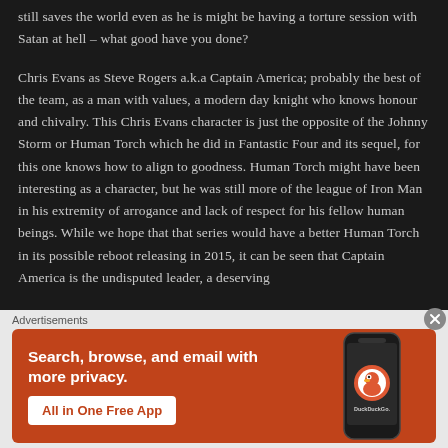still saves the world even as he is might be having a torture session with Satan at hell – what good have you done?
Chris Evans as Steve Rogers a.k.a Captain America; probably the best of the team, as a man with values, a modern day knight who knows honour and chivalry. This Chris Evans character is just the opposite of the Johnny Storm or Human Torch which he did in Fantastic Four and its sequel, for this one knows how to align to goodness. Human Torch might have been interesting as a character, but he was still more of the league of Iron Man in his extremity of arrogance and lack of respect for his fellow human beings. While we hope that that series would have a better Human Torch in its possible reboot releasing in 2015, it can be seen that Captain America is the undisputed leader, a deserving
Advertisements
[Figure (infographic): DuckDuckGo advertisement banner with orange background. Left side shows bold white text: 'Search, browse, and email with more privacy.' with a white button reading 'All in One Free App'. Right side shows a smartphone displaying the DuckDuckGo app with DuckDuckGo logo and text.]